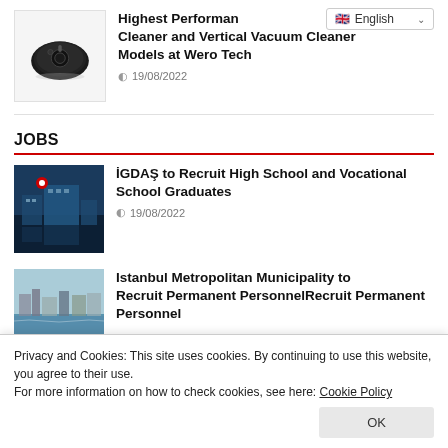[Figure (photo): Robot vacuum cleaner product image on white background]
Highest Performance Cleaner and Vertical Vacuum Cleaner Models at Wero Tech
19/08/2022
JOBS
[Figure (photo): IGDAS building with logo at night, city skyline]
İGDAŞ to Recruit High School and Vocational School Graduates
19/08/2022
[Figure (photo): Istanbul aerial/waterfront view]
Istanbul Metropolitan Municipality to Recruit Permanent Personnel
Privacy and Cookies: This site uses cookies. By continuing to use this website, you agree to their use.
For more information on how to check cookies, see here: Cookie Policy